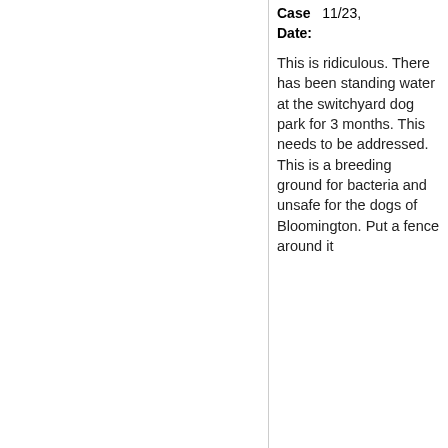Case Date: 11/23,
This is ridiculous. There has been standing water at the switchyard dog park for 3 months. This needs to be addressed. This is a breeding ground for bacteria and unsafe for the dogs of Bloomington. Put a fence around it